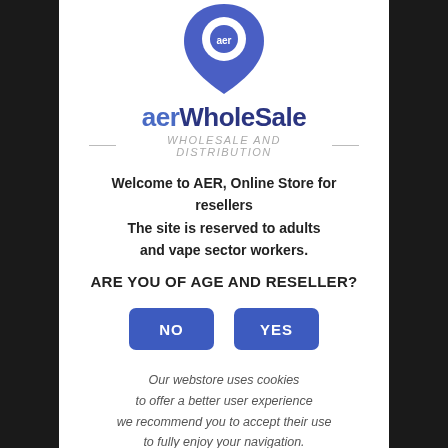[Figure (logo): AerWholeSale logo: a blue teardrop/location pin shape with 'aer' text inside, followed by the brand name 'aerWholeSale' and tagline 'WHOLESALE AND DISTRIBUTION']
Welcome to AER, Online Store for resellers
The site is reserved to adults
and vape sector workers.
ARE YOU OF AGE AND RESELLER?
NO   YES
Our webstore uses cookies
to offer a better user experience
we recommend you to accept their use
to fully enjoy your navigation.